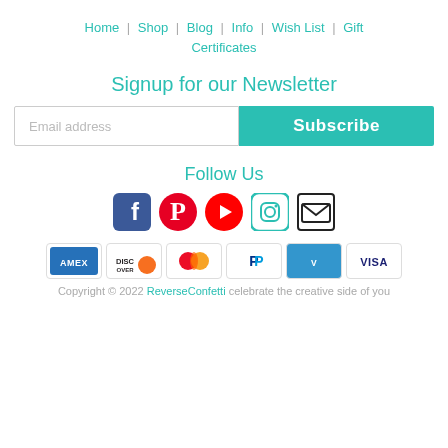Home | Shop | Blog | Info | Wish List | Gift Certificates
Signup for our Newsletter
Email address  Subscribe
Follow Us
[Figure (other): Social media icons: Facebook, Pinterest, YouTube, Instagram, Email]
[Figure (other): Payment method icons: AMEX, Discover, Mastercard, PayPal, Venmo, VISA]
Copyright © 2022 ReverseConfetti celebrate the creative side of you